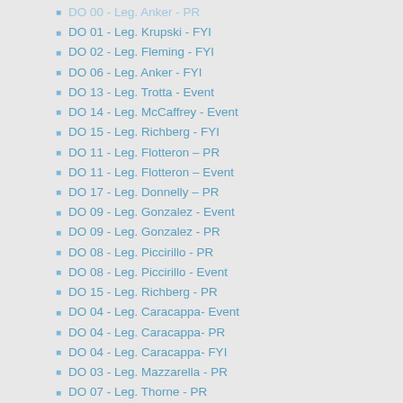DO 00 - Leg. Anker - PR
DO 01 - Leg. Krupski - FYI
DO 02 - Leg. Fleming - FYI
DO 06 - Leg. Anker - FYI
DO 13 - Leg. Trotta - Event
DO 14 - Leg. McCaffrey - Event
DO 15 - Leg. Richberg - FYI
DO 11 - Leg. Flotteron – PR
DO 11 - Leg. Flotteron – Event
DO 17 - Leg. Donnelly – PR
DO 09 - Leg. Gonzalez - Event
DO 09 - Leg. Gonzalez - PR
DO 08 - Leg. Piccirillo - PR
DO 08 - Leg. Piccirillo - Event
DO 15 - Leg. Richberg - PR
DO 04 - Leg. Caracappa- Event
DO 04 - Leg. Caracappa- PR
DO 04 - Leg. Caracappa- FYI
DO 03 - Leg. Mazzarella - PR
DO 07 - Leg. Thorne - PR
DO 10 - Leg. Bergin - PR
DO 16 - Leg. Esteban - PR
DO 18 - Leg. Bontempi - Event